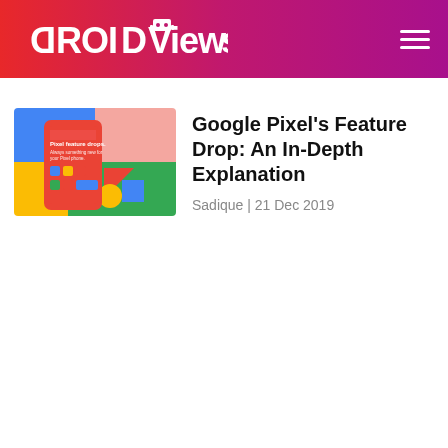DROIDVIEWS
[Figure (screenshot): Pixel Feature Drop promotional image showing a smartphone with colorful Google-themed geometric shapes and the text 'Pixel feature drops']
Google Pixel's Feature Drop: An In-Depth Explanation
Sadique | 21 Dec 2019